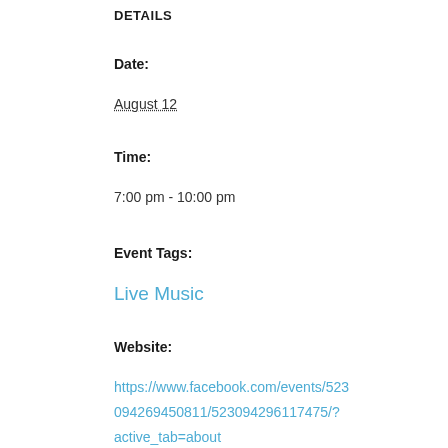DETAILS
Date:
August 12
Time:
7:00 pm - 10:00 pm
Event Tags:
Live Music
Website:
https://www.facebook.com/events/5230942694508 11/523094296117475/?active_tab=about
VENUE